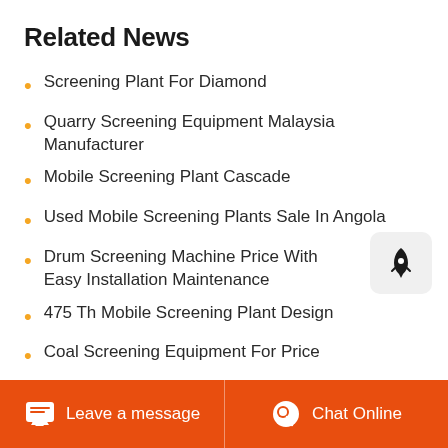Related News
Screening Plant For Diamond
Quarry Screening Equipment Malaysia Manufacturer
Mobile Screening Plant Cascade
Used Mobile Screening Plants Sale In Angola
Drum Screening Machine Price With Easy Installation Maintenance
475 Th Mobile Screening Plant Design
Coal Screening Equipment For Price
Scs Screening Grinding
Magnetite Ore Screening Plant
Leave a message   Chat Online